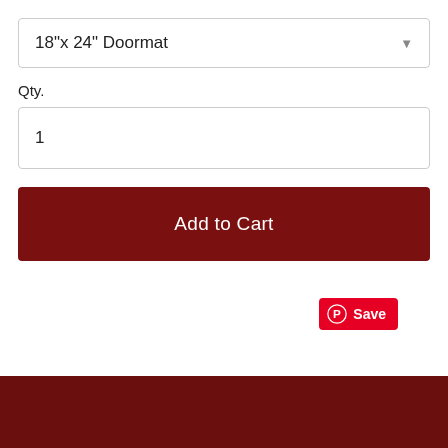18"x 24" Doormat
Qty.
1
Add to Cart
[Figure (other): Pinterest Save button with Pinterest logo icon and 'Save' text on red background]